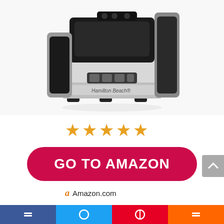[Figure (photo): Hamilton Beach coffee maker product photo on white background, showing a stainless steel and black coffee machine with digital controls and Hamilton Beach branding on the front.]
[Figure (other): Five orange star rating icons]
GO TO AMAZON
Amazon.com
Last update was on: September 5, 2022 8:04 am
[Figure (other): Bottom social media share bar with segments for Facebook, Twitter, Pinterest, and another platform]